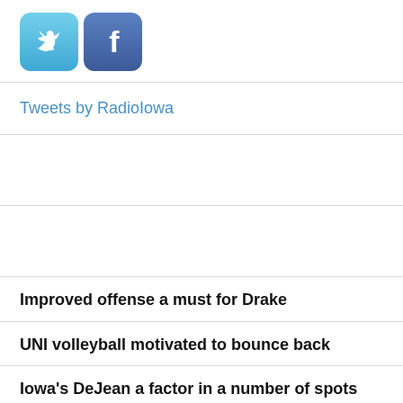[Figure (logo): Twitter and Facebook social media icon buttons]
Tweets by RadioIowa
Improved offense a must for Drake
UNI volleyball motivated to bounce back
Iowa's DeJean a factor in a number of spots
Grinnell College football looks for more progress in rebuild